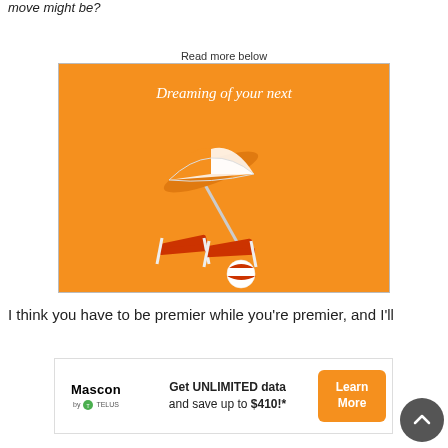move might be?
Read more below
[Figure (illustration): Orange advertisement banner showing beach chairs and a striped umbrella on an orange background with the text 'Dreaming of your next']
I think you have to be premier while you're premier, and I'll
[Figure (infographic): Mascon by TELUS advertisement banner: Get UNLIMITED data and save up to $410!* with a Learn More orange button]